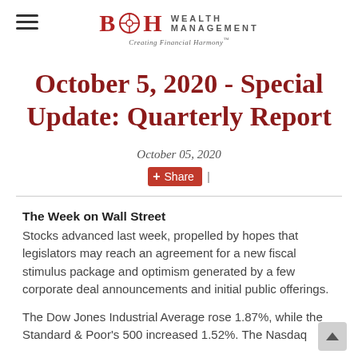B&H Wealth Management — Creating Financial Harmony
October 5, 2020 - Special Update: Quarterly Report
October 05, 2020
+ Share |
The Week on Wall Street
Stocks advanced last week, propelled by hopes that legislators may reach an agreement for a new fiscal stimulus package and optimism generated by a few corporate deal announcements and initial public offerings.
The Dow Jones Industrial Average rose 1.87%, while the Standard & Poor's 500 increased 1.52%. The Nasdaq